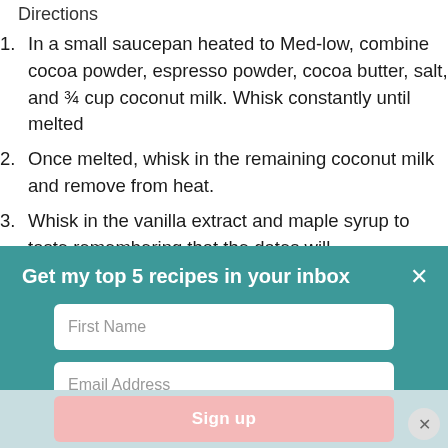Directions
In a small saucepan heated to Med-low, combine cocoa powder, espresso powder, cocoa butter, salt, and ¾ cup coconut milk. Whisk constantly until melted
Once melted, whisk in the remaining coconut milk and remove from heat.
Whisk in the vanilla extract and maple syrup to taste remembering that the dates will
[Figure (screenshot): Email signup modal overlay with teal background. Contains title 'Get my top 5 recipes in your inbox', a close X button, First Name input field, Email Address input field, and a pink Sign up button at the bottom on a light blue bar.]